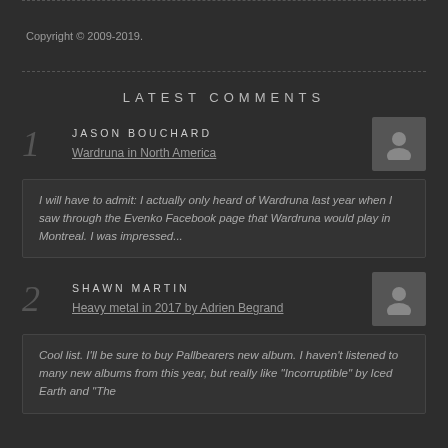Copyright © 2009-2019.
LATEST COMMENTS
1 JASON BOUCHARD Wardruna in North America
I will have to admit: I actually only heard of Wardruna last year when I saw through the Evenko Facebook page that Wardruna would play in Montreal. I was impressed...
2 SHAWN MARTIN Heavy metal in 2017 by Adrien Begrand
Cool list. I'll be sure to buy Pallbearers new album. I haven't listened to many new albums from this year, but really like "Incorruptible" by Iced Earth and "The